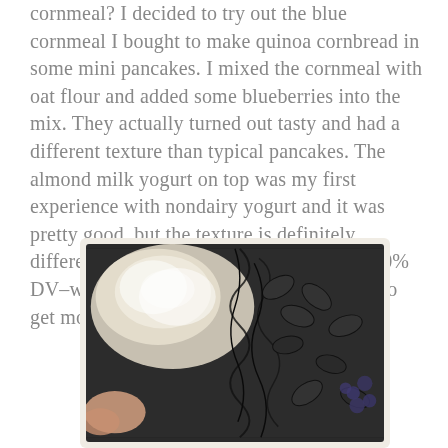cornmeal? I decided to try out the blue cornmeal I bought to make quinoa cornbread in some mini pancakes. I mixed the cornmeal with oat flour and added some blueberries into the mix. They actually turned out tasty and had a different texture than typical pancakes. The almond milk yogurt on top was my first experience with nondairy yogurt and it was pretty good, but the texture is definitely different. It’s got a lot of calcium though–30% DV–which is always something I’m trying to get more of.
[Figure (photo): A close-up photo of mini pancakes with toppings on a decorative plate, black and white filtered appearance, showing hands and a patterned surface.]